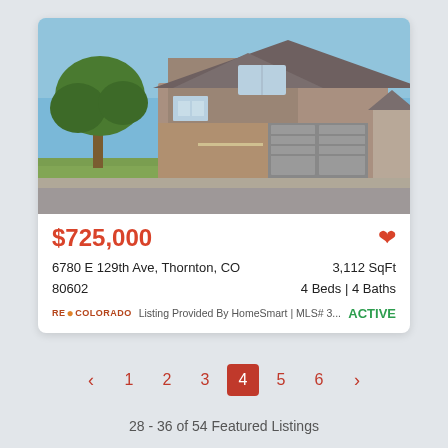[Figure (photo): Exterior photo of a two-story suburban house with brick facade, two-car garage, large tree in front yard, blue sky]
$725,000
6780 E 129th Ave, Thornton, CO 80602
3,112 SqFt
4 Beds | 4 Baths
RE●COLORADO  Listing Provided By HomeSmart | MLS# 3...
ACTIVE
‹  1  2  3  4  5  6  ›
28 - 36 of 54 Featured Listings